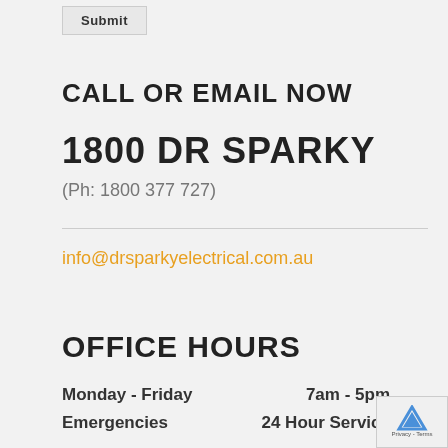[Figure (screenshot): Submit button at top of page]
CALL OR EMAIL NOW
1800 DR SPARKY
(Ph: 1800 377 727)
info@drsparkyelectrical.com.au
OFFICE HOURS
Monday - Friday    7am - 5pm
Emergencies    24 Hour Service